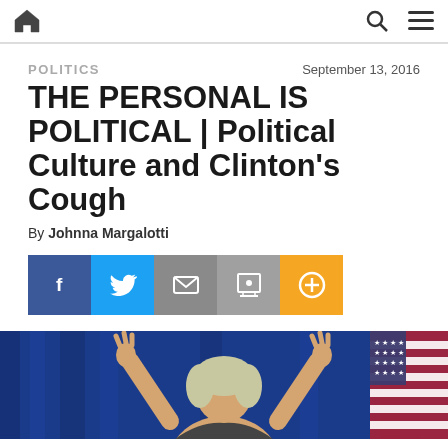Home | Search | Menu
POLITICS
September 13, 2016
THE PERSONAL IS POLITICAL | Political Culture and Clinton's Cough
By Johnna Margalotti
[Figure (infographic): Social share buttons: Facebook (blue), Twitter (light blue), Email (gray), Print (gray), Plus/More (orange)]
[Figure (photo): Photo of Hillary Clinton with hands raised, standing in front of American flags with blue backdrop]